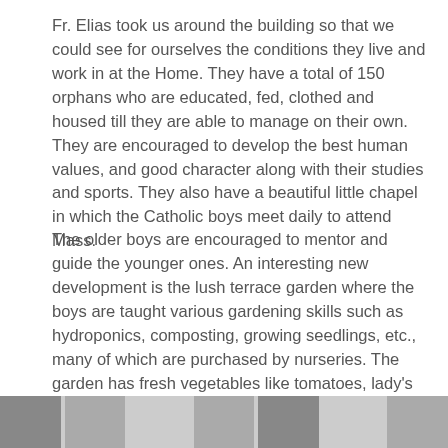Fr. Elias took us around the building so that we could see for ourselves the conditions they live and work in at the Home. They have a total of 150 orphans who are educated, fed, clothed and housed till they are able to manage on their own. They are encouraged to develop the best human values, and good character along with their studies and sports. They also have a beautiful little chapel in which the Catholic boys meet daily to attend Mass.
The older boys are encouraged to mentor and guide the younger ones. An interesting new development is the lush terrace garden where the boys are taught various gardening skills such as hydroponics, composting, growing seedlings, etc., many of which are purchased by nurseries. The garden has fresh vegetables like tomatoes, lady's finger, brinjal, herbs like tulsi and ajwain, fruits like guava and banana, and the boys receive instructions on how to grow them, and care for them. This is a boon to those who would like to pursue agricultural interests.
[Figure (photo): A strip of photographs at the bottom of the page showing scenes from the orphanage or garden.]